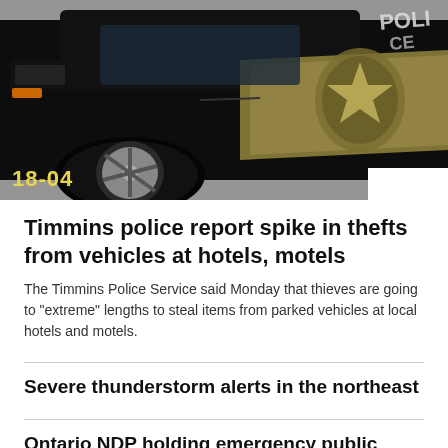[Figure (photo): A dark-colored police vehicle (Dodge Charger) parked on pavement, showing the front wheel and side panel with a gold/tan police badge emblem. The number 18-04 is visible in yellow on the lower left.]
Timmins police report spike in thefts from vehicles at hotels, motels
The Timmins Police Service said Monday that thieves are going to "extreme" lengths to steal items from parked vehicles at local hotels and motels.
Severe thunderstorm alerts in the northeast
Ontario NDP holding emergency public hearing about new LTC bill
Timmins' only bowling alley updates its scoring system thanks to a donation